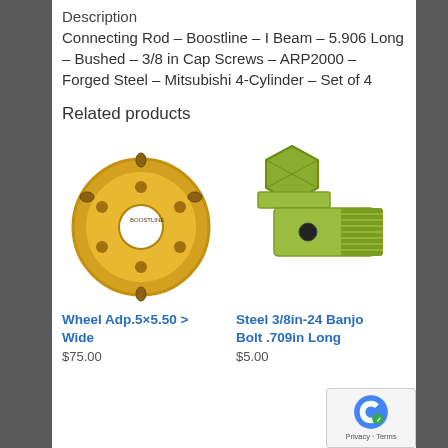Description
Connecting Rod – Boostline – I Beam – 5.906 Long – Bushed – 3/8 in Cap Screws – ARP2000 – Forged Steel – Mitsubishi 4-Cylinder – Set of 4
Related products
[Figure (photo): Gold/yellow colored wheel adapter plate with multiple holes - Wheel Adp.5×5.50 > Wide]
[Figure (photo): Steel banjo bolt with threaded shaft and hollow center - Steel 3/8in-24 Banjo Bolt .709in Long]
Wheel Adp.5×5.50 > Wide
$75.00
Steel 3/8in-24 Banjo Bolt .709in Long
$5.00